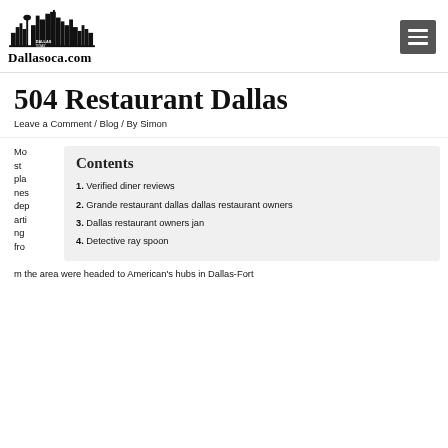[Figure (logo): Dallasoca.com logo with Dallas skyline silhouette above bold serif text 'Dallasoca.com']
504 Restaurant Dallas
Leave a Comment / Blog / By Simon
Contents
1. Verified diner reviews
2. Grande restaurant dallas dallas restaurant owners
3. Dallas restaurant owners jan
4. Detective ray spoon
Most planes departing from the area were headed to American's hubs in Dallas-Fort